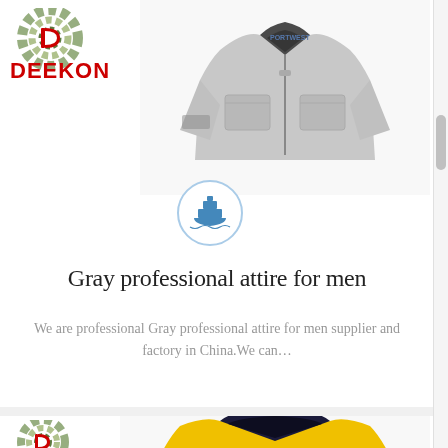[Figure (logo): DEEKON brand logo with camouflage circular emblem and red DEEKON text]
[Figure (photo): Gray professional work jacket/attire for men, zipped front, chest pockets]
[Figure (illustration): Blue ship/boat icon inside a light blue circle, indicating shipping/export]
Gray professional attire for men
We are professional Gray professional attire for men supplier and factory in China.We can…
[Figure (logo): DEEKON brand logo (partial, bottom of page)]
[Figure (photo): Yellow high-visibility polo shirt with dark navy collar (partial, bottom of page)]